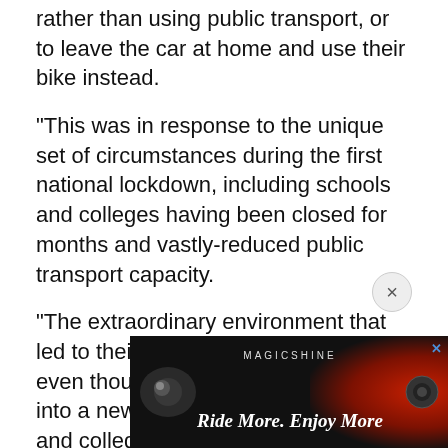rather than using public transport, or to leave the car at home and use their bike instead.
“This was in response to the unique set of circumstances during the first national lockdown, including schools and colleges having been closed for months and vastly-reduced public transport capacity.
“The extraordinary environment that led to their installation no longer exists even though we are about to enter into a new national lockdown: schools and colleges are open, traffic volumes have increased and, although public transport capacity is not back to pre-March levels, it is significantly improved.”
The council said that the majority of feedback on t cycle [partially obscured] ed as a [partially obscured]
[Figure (screenshot): Advertisement banner for Magicshine showing bicycle lights with the tagline 'Ride More. Enjoy More' and a close button (X) in the top right corner. Dark background with red light accent on the right side.]